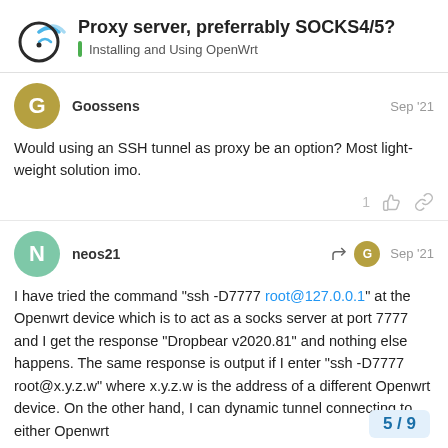Proxy server, preferrably SOCKS4/5? | Installing and Using OpenWrt
Goossens
Sep '21
Would using an SSH tunnel as proxy be an option? Most light-weight solution imo.
neos21
Sep '21
I have tried the command "ssh -D7777 root@127.0.0.1" at the Openwrt device which is to act as a socks server at port 7777 and I get the response "Dropbear v2020.81" and nothing else happens. The same response is output if I enter "ssh -D7777 root@x.y.z.w" where x.y.z.w is the address of a different Openwrt device. On the other hand, I can dynamic tunnel connecting to either Openwrt